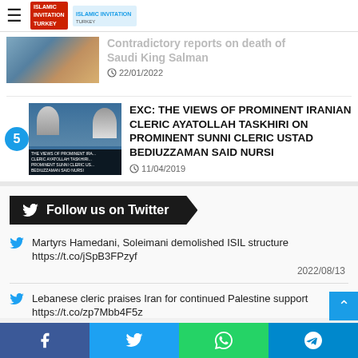Islamic Invitation Turkey - navigation bar with logo
Contradictory reports on death of Saudi King Salman
22/01/2022
EXC: THE VIEWS OF PROMINENT IRANIAN CLERIC AYATOLLAH TASKHIRI ON PROMINENT SUNNI CLERIC USTAD BEDIUZZAMAN SAID NURSI
11/04/2019
Follow us on Twitter
Martyrs Hamedani, Soleimani demolished ISIL structure https://t.co/jSpB3FPzyf
2022/08/13
Lebanese cleric praises Iran for continued Palestine support https://t.co/zp7Mbb4F5z
Social share bar: Facebook, Twitter, WhatsApp, Telegram